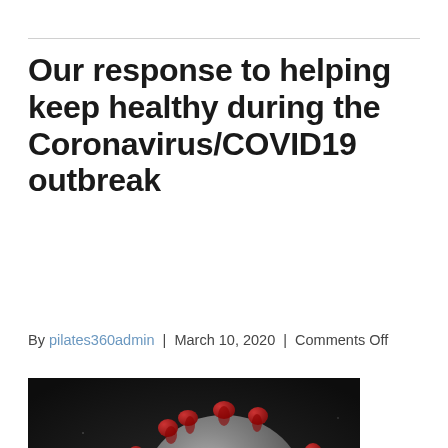Our response to helping keep healthy during the Coronavirus/COVID19 outbreak
By pilates360admin | March 10, 2020 | Comments Off
[Figure (photo): Close-up microscopic image of a coronavirus particle showing the characteristic spike proteins on its surface, rendered against a dark background. The particle appears grey/silver with red spike proteins.]